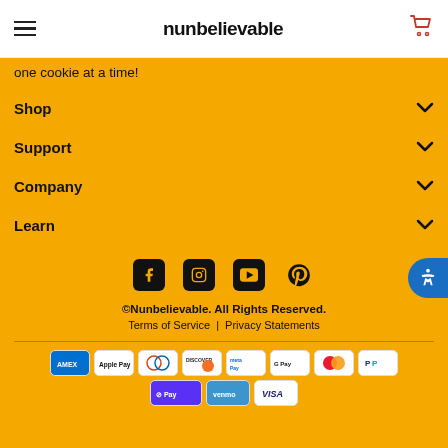nunbelievable
one cookie at a time!
Shop
Support
Company
Learn
[Figure (other): Social media icons: Facebook, Instagram, YouTube, Pinterest]
©Nunbelievable. All Rights Reserved.
Terms of Service | Privacy Statements
[Figure (other): Payment method icons: Amex, Apple Pay, Diners Club, Discover, Meta Pay, Google Pay, Mastercard, PayPal, Shop Pay, Venmo, Visa]